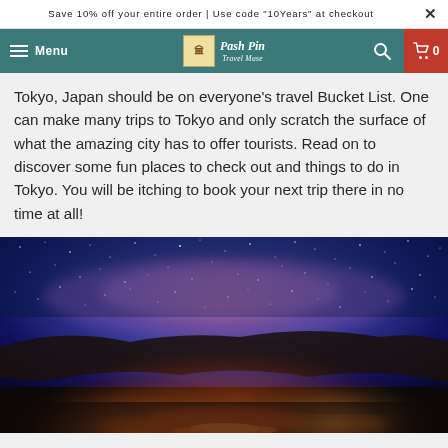Save 10% off your entire order | Use code "10Years" at checkout
Menu | Pash Pin Travel Muse | Search | Cart 0
Tokyo, Japan should be on everyone's travel Bucket List. One can make many trips to Tokyo and only scratch the surface of what the amazing city has to offer tourists. Read on to discover some fun places to check out and things to do in Tokyo. You will be itching to book your next trip there in no time at all!
[Figure (photo): Night sky panorama showing the Milky Way galaxy over a dark landscape with glowing lava or fire on the ground and city lights on the horizon — dramatic purple, blue, and orange tones]